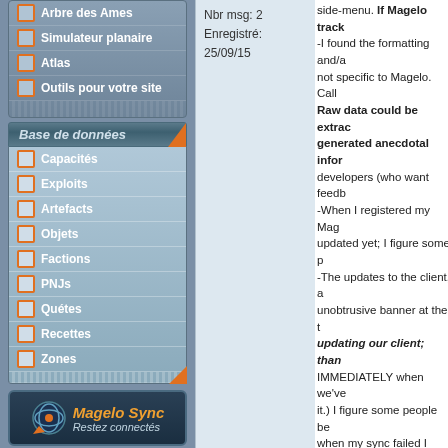Arbre des Ames
Simulateur planaire
Atlas
Outils pour votre site
Base de données
Capacités
Exploits
Artefacts
Objets
Factions
PNJs
Quétes
Recettes
Zones
[Figure (logo): Magelo Sync logo with text 'Restez connectés']
Nbr msg: 2
Enregistré: 25/09/15
side-menu. If Magelo track -I found the formatting and/a not specific to Magelo. Call Raw data could be extrac generated anecdotal infor developers (who want feedb -When I registered my Mag updated yet; I figure some p -The updates to the client, a unobtrusive banner at the t updating our client; than IMMEDIATELY when we've it.) I figure some people be when my sync failed I figure forums did I realize otherwis -RIFT should be working w have no idea how the magi course, since technical deta Magelo, then it creates a fe to buy ridiculously overpriced And finally, -I figure Magelo is not the p become a part of it. Becom want to see e.g. Include a li the RIFT forums specifically Calculator!', hah. And remember, Good luck, Have fun, and b PEACE PS, err, I mean... edit: 10/09